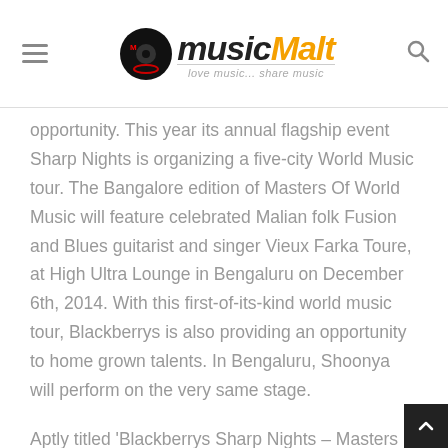music Malt — love music... share music
opportunity. This year its annual flagship event Sharp Nights is organizing a five-city World Music tour. The Bangalore edition of Masters Of World Music will feature celebrated Malian folk Fusion and Blues guitarist and singer Vieux Farka Toure, at High Ultra Lounge in Bengaluru on December 6th, 2014. With this first-of-its-kind world music tour, Blackberrys is also providing an opportunity to home grown talents. In Bengaluru, Shoonya will perform on the very same stage.
Aptly titled 'Blackberrys Sharp Nights – Masters Of World Music', the India tour will showcase two of the